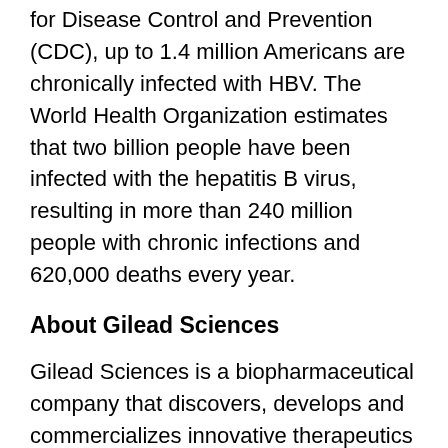for Disease Control and Prevention (CDC), up to 1.4 million Americans are chronically infected with HBV. The World Health Organization estimates that two billion people have been infected with the hepatitis B virus, resulting in more than 240 million people with chronic infections and 620,000 deaths every year.
About Gilead Sciences
Gilead Sciences is a biopharmaceutical company that discovers, develops and commercializes innovative therapeutics in areas of unmet medical need. The company's mission is to advance the care of patients suffering from life-threatening diseases worldwide. Headquartered in Foster City, Calif., Gilead has operations in North America, Europe and Asia Pacific. For more information on Gilead Sciences, please visit